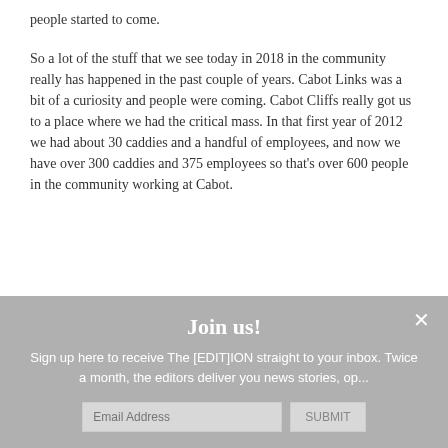people started to come.
So a lot of the stuff that we see today in 2018 in the community really has happened in the past couple of years. Cabot Links was a bit of a curiosity and people were coming. Cabot Cliffs really got us to a place where we had the critical mass. In that first year of 2012 we had about 30 caddies and a handful of employees, and now we have over 300 caddies and 375 employees so that's over 600 people in the community working at Cabot.
Join us!
Sign up here to receive The [EDIT]ION straight to your inbox. Twice a month, the editors deliver you news stories, op...
Email Address